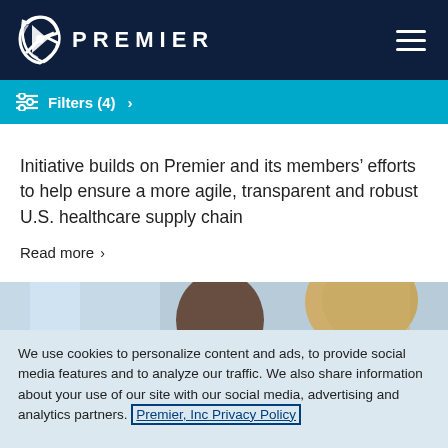PREMIER
Filters (4) >
Initiative builds on Premier and its members’ efforts to help ensure a more agile, transparent and robust U.S. healthcare supply chain
Read more >
[Figure (photo): Two healthcare professionals, one a Black man wearing glasses looking down, the other a blonde woman in the background]
We use cookies to personalize content and ads, to provide social media features and to analyze our traffic. We also share information about your use of our site with our social media, advertising and analytics partners. Premier, Inc Privacy Policy